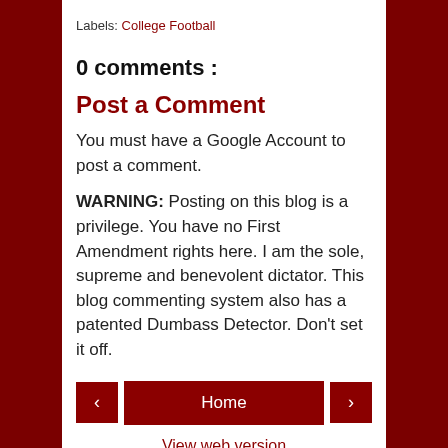Labels: College Football
0 comments :
Post a Comment
You must have a Google Account to post a comment.
WARNING: Posting on this blog is a privilege. You have no First Amendment rights here. I am the sole, supreme and benevolent dictator. This blog commenting system also has a patented Dumbass Detector. Don't set it off.
Home
View web version
Powered by Blogger.